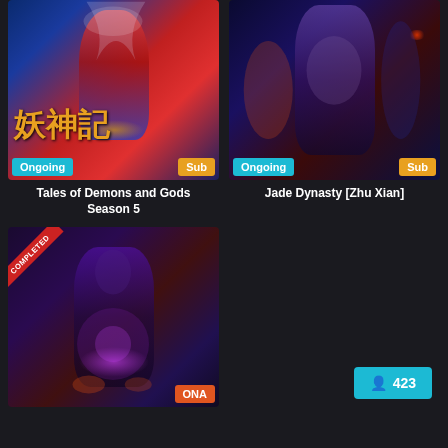[Figure (illustration): Anime/manga thumbnail for Tales of Demons and Gods Season 5 — fantasy action art with Chinese characters, featuring a red-caped warrior, labeled Ongoing and Sub]
Tales of Demons and Gods Season 5
[Figure (illustration): Anime/manga thumbnail for Jade Dynasty [Zhu Xian] — dark fantasy portrait with a split-faced character, fire and blue smoke, labeled Ongoing and Sub]
Jade Dynasty [Zhu Xian]
[Figure (illustration): Anime/manga thumbnail marked COMPLETED ribbon and ONA badge — fantasy character with purple energy glow, dark background with magical elements]